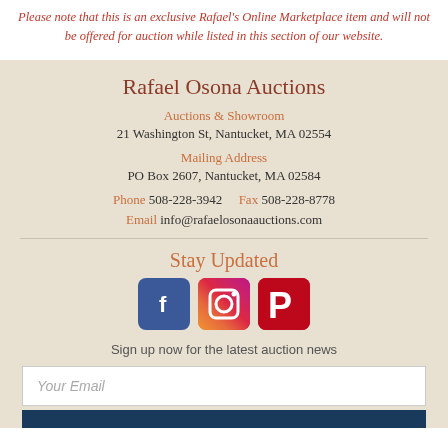Please note that this is an exclusive Rafael's Online Marketplace item and will not be offered for auction while listed in this section of our website.
Rafael Osona Auctions
Auctions & Showroom
21 Washington St, Nantucket, MA 02554

Mailing Address
PO Box 2607, Nantucket, MA 02584

Phone  508-228-3942    Fax  508-228-8778
Email  info@rafaelosonaauctions.com
Stay Updated
[Figure (other): Social media icons for Facebook, Instagram, and Pinterest]
Sign up now for the latest auction news
Your Email